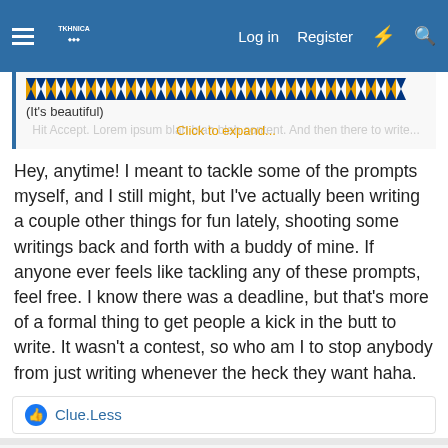Log in  Register
[Figure (screenshot): Quoted post block with decorative banner pattern and expanded text showing '(It's beautiful)' and 'Click to expand...' link]
Hey, anytime! I meant to tackle some of the prompts myself, and I still might, but I've actually been writing a couple other things for fun lately, shooting some writings back and forth with a buddy of mine. If anyone ever feels like tackling any of these prompts, feel free. I know there was a deadline, but that's more of a formal thing to get people a kick in the butt to write. It wasn't a contest, so who am I to stop anybody from just writing whenever the heck they want haha.
Clue.Less
Soldier
Well-known member